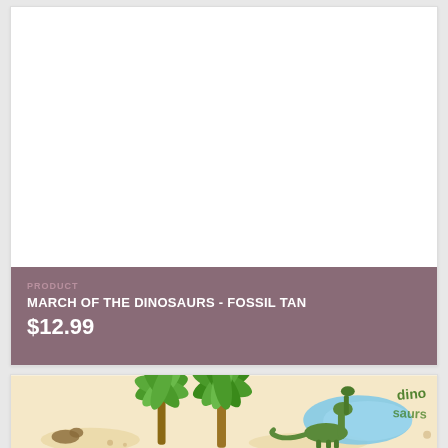[Figure (photo): White blank product image area at the top of the card]
PRODUCT
MARCH OF THE DINOSAURS - FOSSIL TAN
$12.99
[Figure (photo): Fabric pattern showing dinosaurs, palm trees, and blue water on a tan/beige background - March of the Dinosaurs Fossil Tan fabric print]